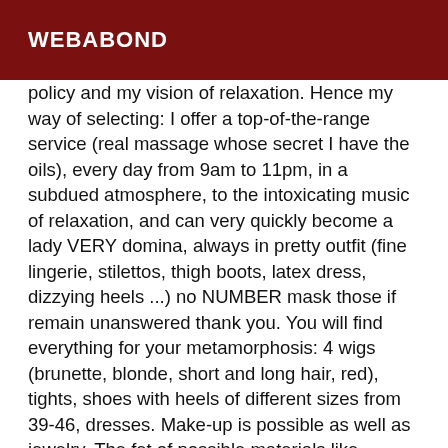WEBABOND
policy and my vision of relaxation. Hence my way of selecting: I offer a top-of-the-range service (real massage whose secret I have the oils), every day from 9am to 11pm, in a subdued atmosphere, to the intoxicating music of relaxation, and can very quickly become a lady VERY domina, always in pretty outfit (fine lingerie, stilettos, thigh boots, latex dress, dizzying heels ...) no NUMBER mask those if remain unanswered thank you. You will find everything for your metamorphosis: 4 wigs (brunette, blonde, short and long hair, red), tights, shoes with heels of different sizes from 39-46, dresses. Make-up is possible as well as jewelry. The fet of possible materials like - velvet dresses, silk blouses and pyjamas, vinyl dresses and stockings, latex sets and leather dresses. Footwear (the color of the varnish is variable such as: red, black, blue, scarlet, Winder with or without shine), boots (variable colors: transparent red, black boots of real leather, semi leather of silver color),